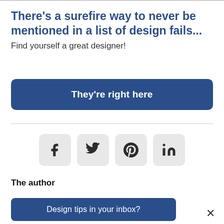There's a surefire way to never be mentioned in a list of design fails...
Find yourself a great designer!
[Figure (other): Blue call-to-action button with text 'They're right here']
[Figure (other): Four social share icon buttons: Facebook (f), Twitter (bird), Pinterest (p), LinkedIn (in)]
The author
[Figure (other): Blue banner button at bottom: 'Design tips in your inbox?' with X close button]